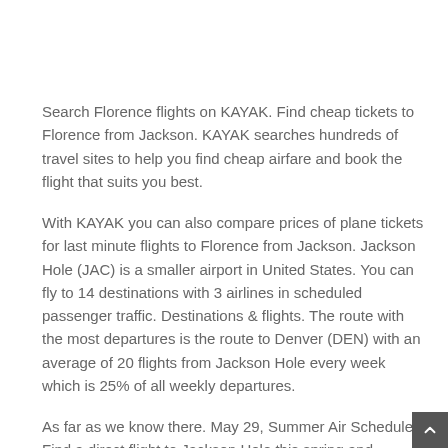Search Florence flights on KAYAK. Find cheap tickets to Florence from Jackson. KAYAK searches hundreds of travel sites to help you find cheap airfare and book the flight that suits you best.
With KAYAK you can also compare prices of plane tickets for last minute flights to Florence from Jackson. Jackson Hole (JAC) is a smaller airport in United States. You can fly to 14 destinations with 3 airlines in scheduled passenger traffic. Destinations & flights. The route with the most departures is the route to Denver (DEN) with an average of 20 flights from Jackson Hole every week which is 25% of all weekly departures.
As far as we know there. May 29, Summer Air Schedule. Find a direct flight to Jackson Hole this spring and summer! This schedule was updated March 10, Flight.
Jackson Hole Airport / JAC. Airport Guide. TSA / Security;